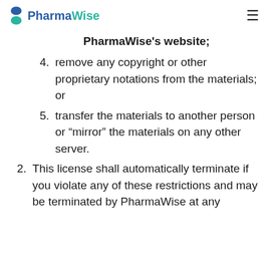PharmaWise
PharmaWise's website;
4. remove any copyright or other proprietary notations from the materials; or
5. transfer the materials to another person or “mirror” the materials on any other server.
2. This license shall automatically terminate if you violate any of these restrictions and may be terminated by PharmaWise at any